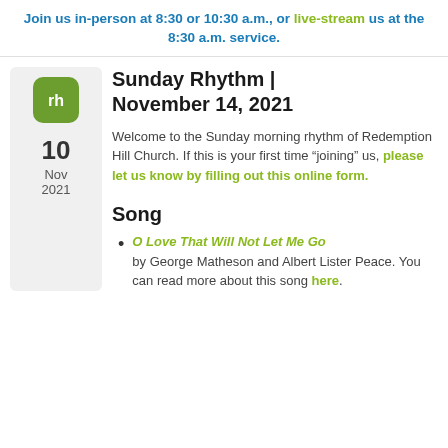Join us in-person at 8:30 or 10:30 a.m., or live-stream us at the 8:30 a.m. service.
Sunday Rhythm | November 14, 2021
Welcome to the Sunday morning rhythm of Redemption Hill Church. If this is your first time “joining” us, please let us know by filling out this online form.
Song
O Love That Will Not Let Me Go by George Matheson and Albert Lister Peace. You can read more about this song here.